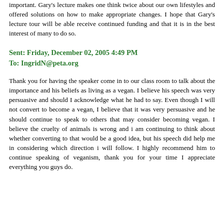important. Gary's lecture makes one think twice about our own lifestyles and offered solutions on how to make appropriate changes. I hope that Gary's lecture tour will be able receive continued funding and that it is in the best interest of many to do so.
Sent: Friday, December 02, 2005 4:49 PM
To: IngridN@peta.org
Thank you for having the speaker come in to our class room to talk about the importance and his beliefs as living as a vegan. I believe his speech was very persuasive and should I acknowledge what he had to say. Even though I will not convert to become a vegan, I believe that it was very persuasive and he should continue to speak to others that may consider becoming vegan. I believe the cruelty of animals is wrong and i am continuing to think about whether converting to that would be a good idea, but his speech did help me in considering which direction i will follow. I highly recommend him to continue speaking of veganism, thank you for your time I appreciate everything you guys do.